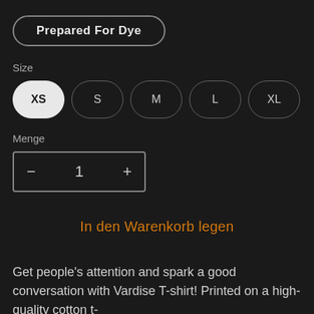Prepared For Dye
Size
XS (selected), S, M, L, XL
Menge
— 1 +
In den Warenkorb legen
Get people's attention and spark a good conversation with Vardise T-shirt! Printed on a high-quality cotton t-shirt...